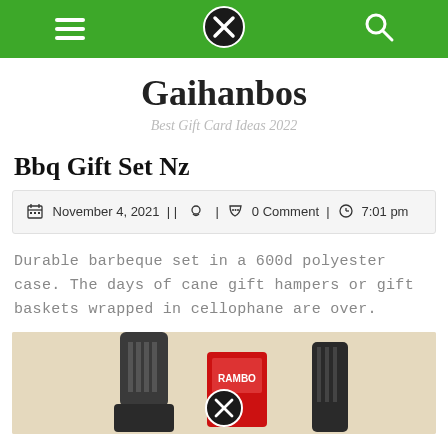Gaihanbos — navigation header bar with menu, close, and search icons
Gaihanbos
Best Gift Card Ideas 2022
Bbq Gift Set Nz
November 4, 2021 | | | 0 Comment | 7:01 pm
Durable barbeque set in a 600d polyester case. The days of cane gift hampers or gift baskets wrapped in cellophane are over.
[Figure (photo): BBQ tools/utensils set with spatula and other grilling accessories on a beige background, with a circular X logo overlay in the center]